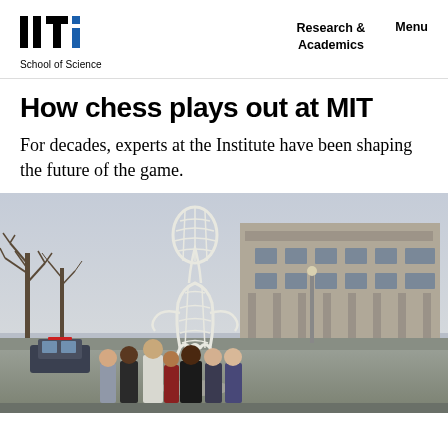MIT School of Science | Research & Academics | Menu
How chess plays out at MIT
For decades, experts at the Institute have been shaping the future of the game.
[Figure (photo): Group of seven students posing in front of a large white lattice human figure sculpture on the MIT campus, with a concrete building visible in the background and bare trees on the left. The scene appears to be in late winter or early spring.]